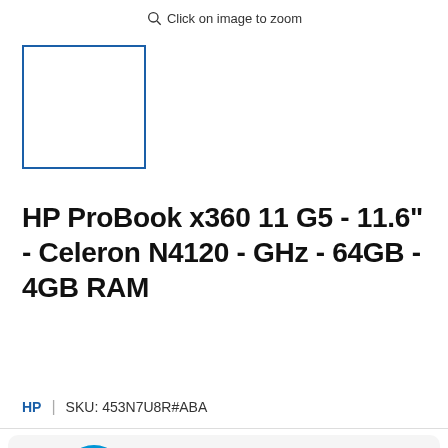Click on image to zoom
[Figure (other): Product thumbnail placeholder box with blue border]
HP ProBook x360 11 G5 - 11.6" - Celeron N4120 - GHz - 64GB - 4GB RAM
HP | SKU: 453N7U8R#ABA
HP Recertified — Sealed & Refurbished. Backed With HP Warranty.
Questions? We can help. Chat with us now.